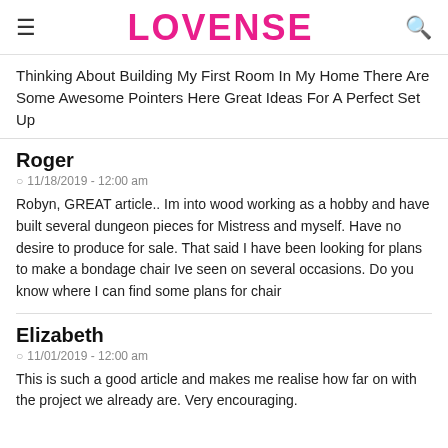LOVENSE
Thinking About Building My First Room In My Home There Are Some Awesome Pointers Here Great Ideas For A Perfect Set Up
Roger
11/18/2019 - 12:00 am
Robyn, GREAT article.. Im into wood working as a hobby and have built several dungeon pieces for Mistress and myself. Have no desire to produce for sale. That said I have been looking for plans to make a bondage chair Ive seen on several occasions. Do you know where I can find some plans for chair
Elizabeth
11/01/2019 - 12:00 am
This is such a good article and makes me realise how far on with the project we already are. Very encouraging.